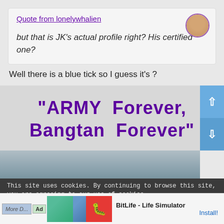Quote from lonelywhalien
but that is JK's actual profile right? His certified one?
Well there is a blue tick so I guess it's ?
“ARMY Forever, Bangtan Forever”
[Figure (photo): Cloudy sky landscape image strip]
This site uses cookies. By continuing to browse this site, you are agreeing to our use of cookies.
BitLife - Life Simulator  Install!